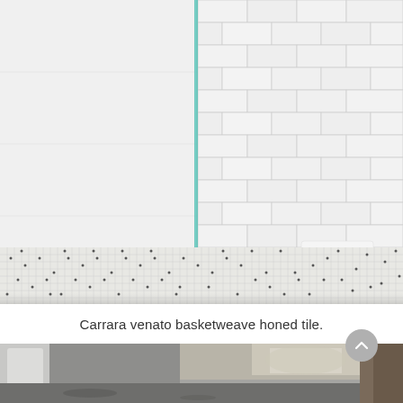[Figure (photo): Interior shower photo showing white subway tile walls, a glass partition, basketweave patterned floor tile with dark dot accents, and a white hexagonal pedestal stool with folded white towels on top.]
Carrara venato basketweave honed tile.
[Figure (photo): Partial view of a bathroom renovation in progress, showing exposed concrete floor and walls with patchy plaster/drywall repair, with a bathtub visible on the left.]